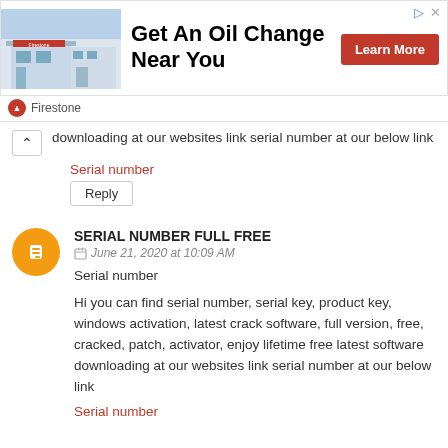[Figure (infographic): Firestone advertisement banner: photo of a Firestone store on the left, bold text 'Get An Oil Change Near You' in center, red 'Learn More' button on right, Firestone logo and name at bottom left, ad icons top right.]
downloading at our websites link serial number at our below link
Serial number
Reply
SERIAL NUMBER FULL FREE
June 21, 2020 at 10:09 AM
Serial number
Hi you can find serial number, serial key, product key, windows activation, latest crack software, full version, free, cracked, patch, activator, enjoy lifetime free latest software downloading at our websites link serial number at our below link
Serial number